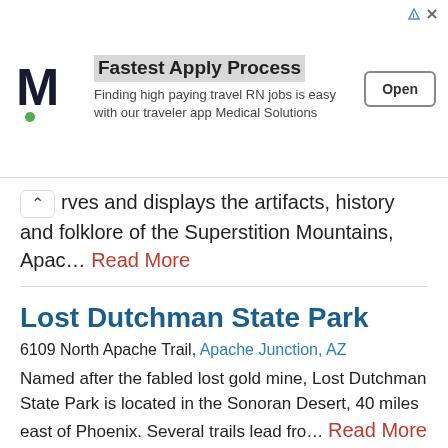[Figure (other): Advertisement banner for Medical Solutions with M logo, 'Fastest Apply Process' headline, and 'Open' button]
rves and displays the artifacts, history and folklore of the Superstition Mountains, Apac… Read More
Lost Dutchman State Park
6109 North Apache Trail, Apache Junction, AZ
Named after the fabled lost gold mine, Lost Dutchman State Park is located in the Sonoran Desert, 40 miles east of Phoenix. Several trails lead fro… Read More
Mesa Historical Museum
2345 N. Horne, Mesa, AZ
History of the Mesa Historical Museum. After getting its...